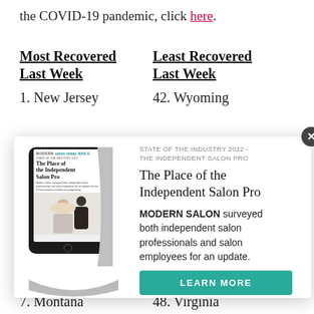the COVID-19 pandemic, click here.
Most Recovered Last Week
Least Recovered Last Week
1. New Jersey
42. Wyoming
[Figure (other): Advertisement modal popup showing a tablet device with 'The Place of the Independent Salon Pro' State of the Industry 2022 report cover, alongside text and a Learn More button]
7. Montana
48. Virginia